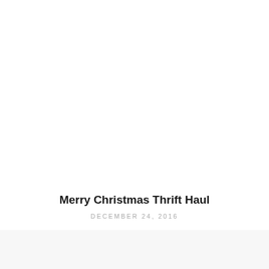Merry Christmas Thrift Haul
DECEMBER 24, 2016